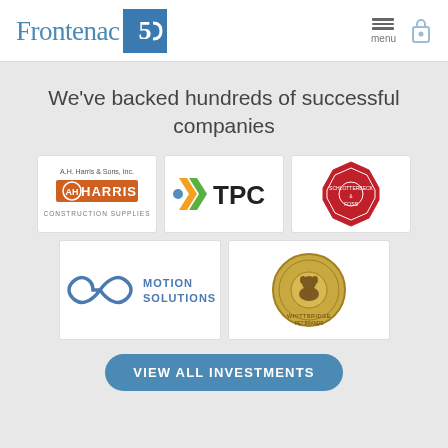[Figure (logo): Frontenac 50th anniversary logo with text 'Frontenac' in blue serif font and a blue square badge with '50' in white]
We've backed hundreds of successful companies
[Figure (logo): A.H. Harris & Sons, Inc. - Harris Construction Supplies logo with orange rectangular badge]
[Figure (logo): TPC logo with colorful arrow chevron icon and bold TPC text]
[Figure (logo): Schlotterbeck & Foss octagonal red badge logo]
[Figure (logo): Motion Solutions logo with infinity symbol in blue]
[Figure (logo): Whittbridge Pet Brands circular badge logo in gold/brown]
VIEW ALL INVESTMENTS